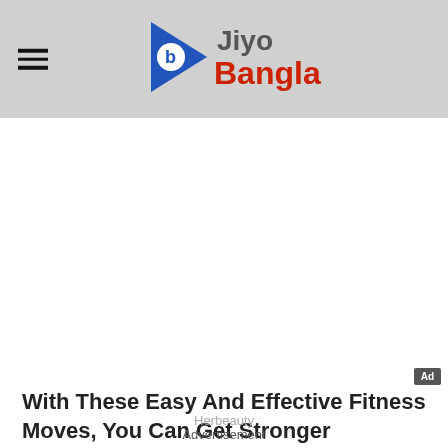Jiyo Bangla
[Figure (logo): Jiyo Bangla logo with blue/red play-button icon and text 'Jiyo Bangla' in grey and red]
[Figure (other): Advertisement placeholder area with Ad badge in corner]
With These Easy And Effective Fitness Moves, You Can Get Stronger
Herbeauty
Advertisement